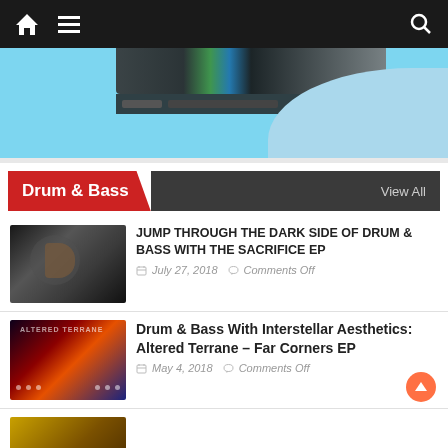Navigation bar with home, menu, and search icons
[Figure (screenshot): Hero area with light blue background and a browser screenshot/toolbar strip across the top]
Drum & Bass  View All
[Figure (photo): Dark photo of a musician playing instrument, possibly trumpet or brass]
JUMP THROUGH THE DARK SIDE OF DRUM & BASS WITH THE SACRIFICE EP
July 27, 2018  Comments Off
[Figure (photo): Dark atmospheric album art with red and purple tones, text reads ALTERED TERRANE]
Drum & Bass With Interstellar Aesthetics: Altered Terrane – Far Corners EP
May 4, 2018  Comments Off
[Figure (photo): Partial golden/warm toned photo at bottom of page]